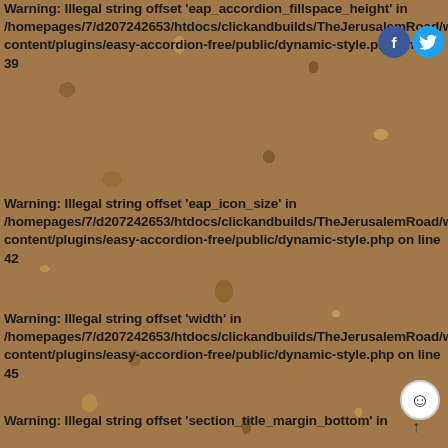Warning: Illegal string offset 'eap_accordion_fillspace_height' in /homepages/7/d207242653/htdocs/clickandbuilds/TheJerusalemRoad/wp-content/plugins/easy-accordion-free/public/dynamic-style.php on line 39
Warning: Illegal string offset 'eap_icon_size' in /homepages/7/d207242653/htdocs/clickandbuilds/TheJerusalemRoad/wp-content/plugins/easy-accordion-free/public/dynamic-style.php on line 42
Warning: Illegal string offset 'width' in /homepages/7/d207242653/htdocs/clickandbuilds/TheJerusalemRoad/wp-content/plugins/easy-accordion-free/public/dynamic-style.php on line 45
Warning: Illegal string offset 'section_title_margin_bottom' in /homepages/7/d207242653/htdocs/clickandbuilds/TheJerusalemRoad/wp-content/plugins/easy-accordion-free/public/dynamic-style.php on line 33
Warning: Illegal string offset 'eap_accordion_fillspace_height' in /homepages/7/d207242653/htdocs/clickandbuilds/TheJerusalemRoad/wp-content/plugins/easy-accordion-free/public/dynamic-style.php on line